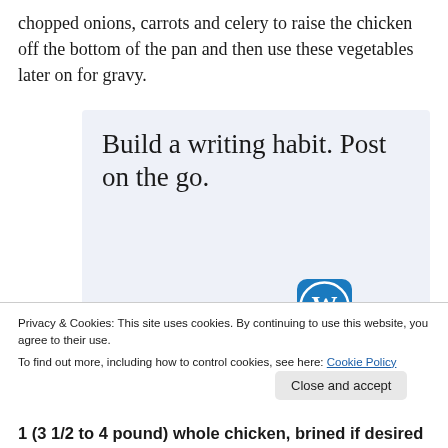chopped onions, carrots and celery to raise the chicken off the bottom of the pan and then use these vegetables later on for gravy.
[Figure (screenshot): Advertisement banner with light blue background reading 'Build a writing habit. Post on the go.' with a 'GET THE APP' call to action and WordPress logo]
Privacy & Cookies: This site uses cookies. By continuing to use this website, you agree to their use.
To find out more, including how to control cookies, see here: Cookie Policy
1 (3 1/2 to 4 pound) whole chicken, brined if desired